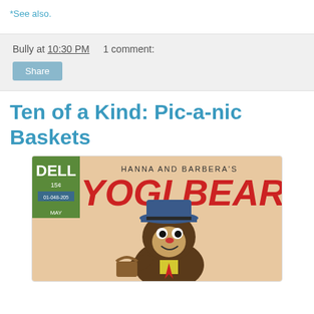*See also.
Bully at 10:30 PM    1 comment:
Share
Ten of a Kind: Pic-a-nic Baskets
[Figure (illustration): Dell comic book cover for Hanna and Barbera's Yogi Bear, priced at 15 cents, showing Yogi Bear character in hat and collar holding a basket]